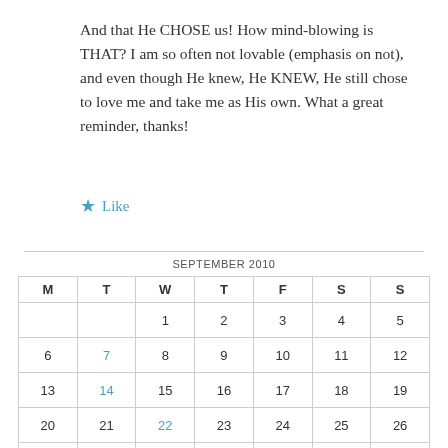And that He CHOSE us! How mind-blowing is THAT? I am so often not lovable (emphasis on not), and even though He knew, He KNEW, He still chose to love me and take me as His own. What a great reminder, thanks!
★ Like
| M | T | W | T | F | S | S |
| --- | --- | --- | --- | --- | --- | --- |
|  |  | 1 | 2 | 3 | 4 | 5 |
| 6 | 7 | 8 | 9 | 10 | 11 | 12 |
| 13 | 14 | 15 | 16 | 17 | 18 | 19 |
| 20 | 21 | 22 | 23 | 24 | 25 | 26 |
| 27 | 28 | 29 | 30 |  |  |  |